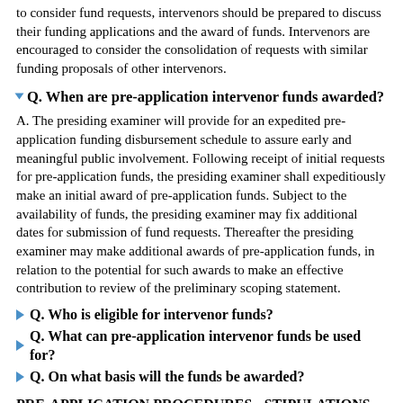to consider fund requests, intervenors should be prepared to discuss their funding applications and the award of funds. Intervenors are encouraged to consider the consolidation of requests with similar funding proposals of other intervenors.
Q. When are pre-application intervenor funds awarded?
A. The presiding examiner will provide for an expedited pre-application funding disbursement schedule to assure early and meaningful public involvement. Following receipt of initial requests for pre-application funds, the presiding examiner shall expeditiously make an initial award of pre-application funds. Subject to the availability of funds, the presiding examiner may fix additional dates for submission of fund requests. Thereafter the presiding examiner may make additional awards of pre-application funds, in relation to the potential for such awards to make an effective contribution to review of the preliminary scoping statement.
Q. Who is eligible for intervenor funds?
Q. What can pre-application intervenor funds be used for?
Q. On what basis will the funds be awarded?
PRE-APPLICATION PROCEDURES - STIPULATIONS